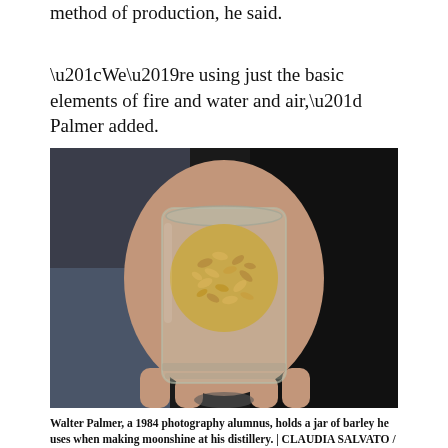method of production, he said.
“We’re using just the basic elements of fire and water and air,” Palmer added.
[Figure (photo): A hand holding a glass mason jar filled with barley grains, viewed from above. The background is dark with blue tones.]
Walter Palmer, a 1984 photography alumnus, holds a jar of barley he uses when making moonshine at his distillery. | CLAUDIA SALVATO / THE TEMPLE NEWS